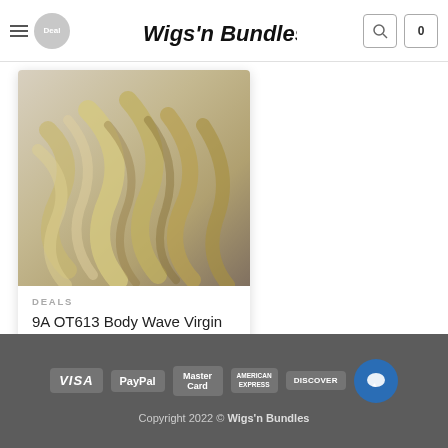Wigs'n Bundles – navigation header with hamburger menu, logo, search and cart icons
[Figure (photo): Product photo of blonde wavy body wave hair bundle on grey background]
DEALS
9A OT613 Body Wave Virgin Hair Bundle 10-24 inch
$50.00 – $270.00
Payment icons: VISA, PayPal, MasterCard, American Express, Discover. Copyright 2022 © Wigs'n Bundles